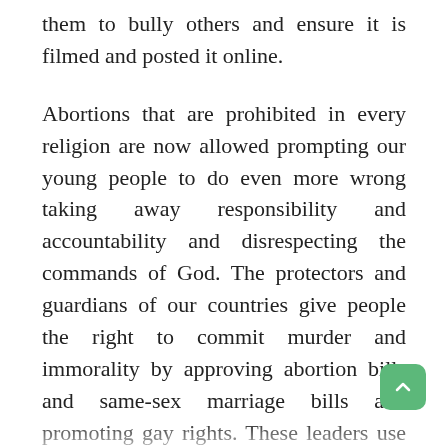them to bully others and ensure it is filmed and posted it online.
Abortions that are prohibited in every religion are now allowed prompting our young people to do even more wrong taking away responsibility and accountability and disrespecting the commands of God. The protectors and guardians of our countries give people the right to commit murder and immorality by approving abortion bills and same-sex marriage bills and promoting gay rights. These leaders use God in courtrooms as the bases of truth and justice but in their parliaments, they promote murder and immorality in the name of human rights and dignity. Governments who are supposed to be guardians and leaders chase wealth and power even more by murdering millions of people to steal their resources and establish their reign of power over others